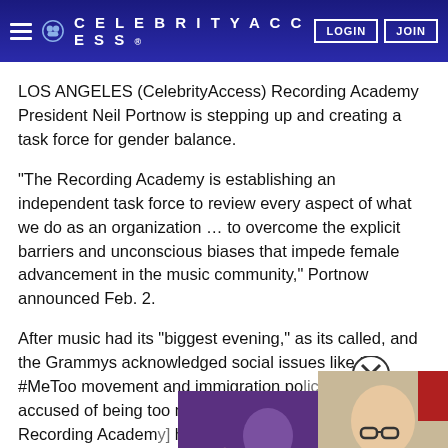CELEBRITYACCESS — LOGIN | JOIN
LOS ANGELES (CelebrityAccess) Recording Academy President Neil Portnow is stepping up and creating a task force for gender balance.
“The Recording Academy is establishing an independent task force to review every aspect of what we do as an organization … to overcome the explicit barriers and unconscious biases that impede female advancement in the music community,” Portnow announced Feb. 2.
After music had its “biggest evening,” as its called, and the Grammys acknowledged social issues like the #MeToo movement and immigration po[licy]. The Grammys were accused of being too male-cent[ric]. [On] Jan. 29, the Recording Academ[y] hashtag #GrammysSoMale. Sh[e said] Recording Academy chief Port[now...]
[Figure (screenshot): Video thumbnail overlay showing a person in purple graduation gown on the left and a bald man in plaid shirt on the right, with a close (X) button in the upper right corner.]